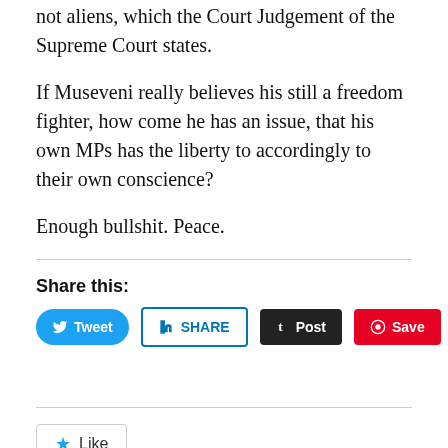not aliens, which the Court Judgement of the Supreme Court states.
If Museveni really believes his still a freedom fighter, how come he has an issue, that his own MPs has the liberty to accordingly to their own conscience?
Enough bullshit. Peace.
Share this:
[Figure (other): Social share buttons: Tweet (Twitter/blue), SHARE (LinkedIn/white-blue border), Post (Tumblr/dark), Save (Pinterest/red)]
[Figure (other): Like button with star icon]